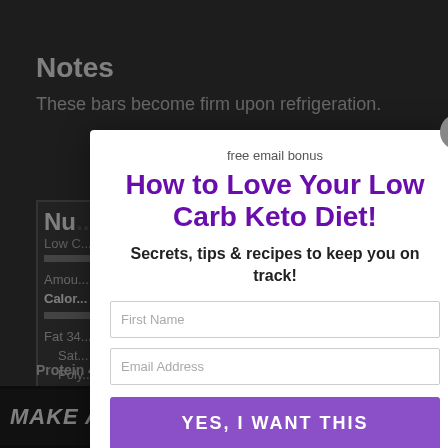Notes
These bars become firm upon refrigeration.
[Figure (screenshot): Partial nutrition facts label with rows for Fat, Saturated, Polyunsaturated, Monounsaturated, Cholesterol, Sodium, Potassium, Carbohydrates, Fiber, Protein 4g 8%]
[Figure (infographic): Email signup modal popup with purple headline 'How to Love Your Low Carb Keto Diet!', subheading 'Secrets, tips & recipes to keep you on track!', First Name and Email Address input fields, and a purple YES, I WANT THIS button. Also shows 'free email bonus' label at top and close X button.]
[Figure (screenshot): Bottom banner ad showing 'MAKE A FRIEND' text with a dog image. Right side social buttons: teal heart button, white circle with '5', white circle with share icon.]